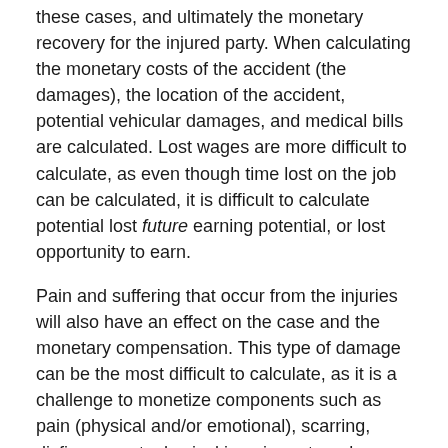these cases, and ultimately the monetary recovery for the injured party. When calculating the monetary costs of the accident (the damages), the location of the accident, potential vehicular damages, and medical bills are calculated. Lost wages are more difficult to calculate, as even though time lost on the job can be calculated, it is difficult to calculate potential lost future earning potential, or lost opportunity to earn.
Pain and suffering that occur from the injuries will also have an effect on the case and the monetary compensation. This type of damage can be the most difficult to calculate, as it is a challenge to monetize components such as pain (physical and/or emotional), scarring, disfigurement, physical impairment, and wrongful death.
Other factors to consider when looking at damages include:
Extent of medical treatment